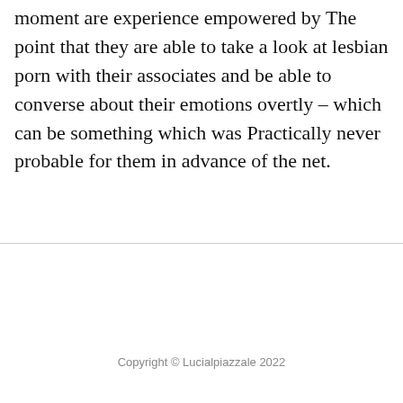moment are experience empowered by The point that they are able to take a look at lesbian porn with their associates and be able to converse about their emotions overtly – which can be something which was Practically never probable for them in advance of the net.
Copyright © Lucialpiazzale 2022